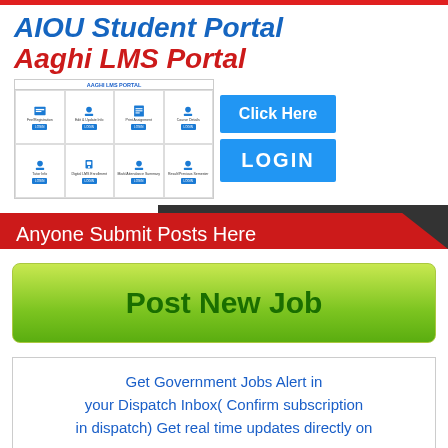AIOU Student Portal Aaghi LMS Portal
[Figure (screenshot): Screenshot of AIOU Aaghi LMS Portal showing a grid of student portal features and two buttons: 'Click Here' and 'LOGIN']
Anyone Submit Posts Here
Post New Job
Get Government Jobs Alert in your Dispatch Inbox( Confirm subscription in dispatch) Get real time updates directly on